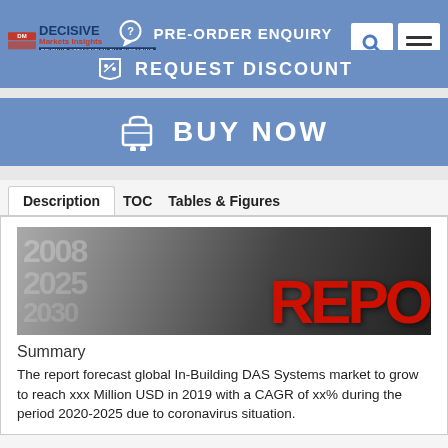[Figure (screenshot): Top blue banner with Decisive Markets Insights logo, PRE-ORDER ENQUIRY text, search icon, and hamburger menu icon]
[Figure (screenshot): Blue banner with REQUEST DISCOUNT button]
[Figure (screenshot): Blue banner with BUY NOW button and shopping cart icon]
Description   TOC   Tables & Figures
[Figure (photo): Dark background with large silver 3D numbers (2008, 2025, etc.) and red 3D letters spelling REPO]
Summary
The report forecast global In-Building DAS Systems market to grow to reach xxx Million USD in 2019 with a CAGR of xx% during the period 2020-2025 due to coronavirus situation.